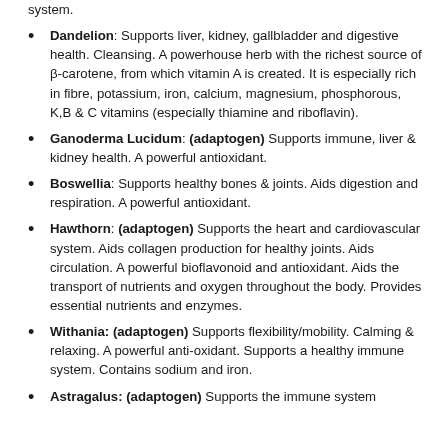system.
Dandelion: Supports liver, kidney, gallbladder and digestive health. Cleansing. A powerhouse herb with the richest source of β-carotene, from which vitamin A is created. It is especially rich in fibre, potassium, iron, calcium, magnesium, phosphorous, K,B & C vitamins (especially thiamine and riboflavin).
Ganoderma Lucidum: (adaptogen) Supports immune, liver & kidney health. A powerful antioxidant.
Boswellia: Supports healthy bones & joints. Aids digestion and respiration. A powerful antioxidant.
Hawthorn: (adaptogen) Supports the heart and cardiovascular system. Aids collagen production for healthy joints. Aids circulation. A powerful bioflavonoid and antioxidant. Aids the transport of nutrients and oxygen throughout the body. Provides essential nutrients and enzymes.
Withania: (adaptogen) Supports flexibility/mobility. Calming & relaxing. A powerful anti-oxidant. Supports a healthy immune system. Contains sodium and iron.
Astragalus: (adaptogen) Supports the immune system...